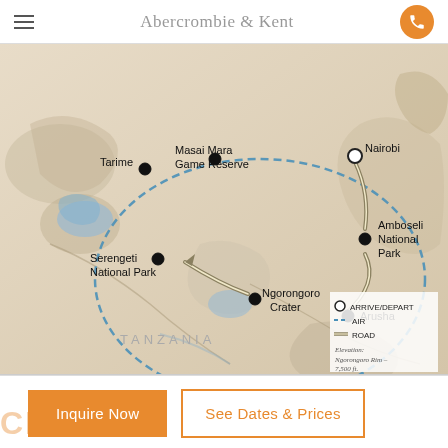Abercrombie & Kent
[Figure (map): Safari route map showing locations: Tarime, Masai Mara Game Reserve, Nairobi, Amboseli National Park, Serengeti National Park, Ngorongoro Crater, Arusha. Routes shown with dashed blue line (air) and double solid line (road). Legend shows: Arrive/Depart, Air (dashed), Road (double line). Elevation notes: Ngorongoro Rim - 7,500 ft., Nairobi - 5,600 ft. Country label: TANZANIA.]
Inquire Now
See Dates & Prices